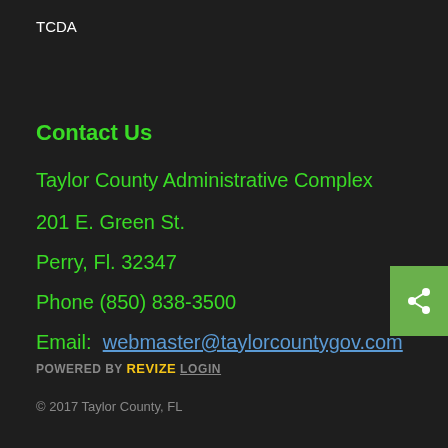TCDA
Contact Us
Taylor County Administrative Complex
201 E. Green St.
Perry, Fl. 32347
Phone (850) 838-3500
Email:  webmaster@taylorcountygov.com
POWERED BY Revize LOGIN
© 2017 Taylor County, FL